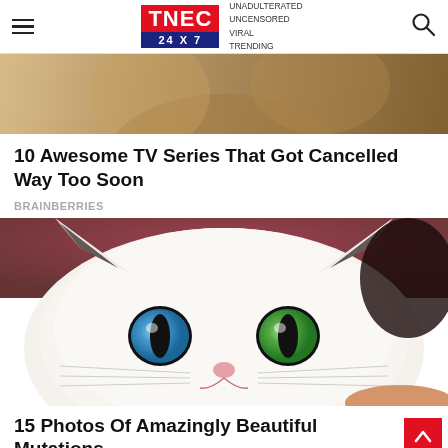TNEC 24 X 7 — UNADULTERATED UNCENSORED VIRAL TRENDING
[Figure (photo): Partial view of a person wearing a brown/tan leather jacket, cropped close]
10 Awesome TV Series That Got Cancelled Way Too Soon
BRAINBERRIES
[Figure (photo): Close-up of a white cat with heterochromia — one blue eye and one green eye, being held by a human hand]
15 Photos Of Amazingly Beautiful Mutations